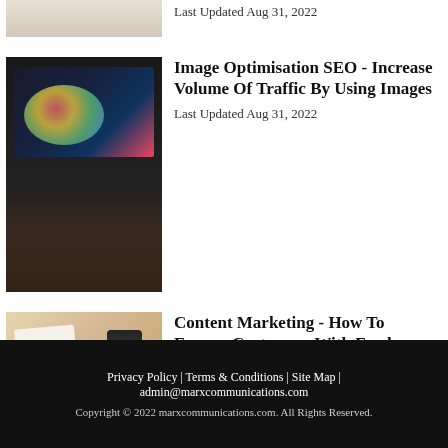[Figure (photo): Partial view of a document or book at the top of the page (cropped)]
Last Updated Aug 31, 2022
[Figure (photo): Person typing on a laptop with colorful bokeh lights in the background]
Image Optimisation SEO - Increase Volume Of Traffic By Using Images
Last Updated Aug 31, 2022
[Figure (photo): Person working at a desk with papers, phone, markers and craft supplies]
Content Marketing - How To Engage Customers With Fresh Content
Last Updated Aug 31, 2022
Privacy Policy | Terms & Conditions | Site Map | admin@marxcommunications.com
Copyright © 2022 marxcommunications.com. All Rights Reserved.